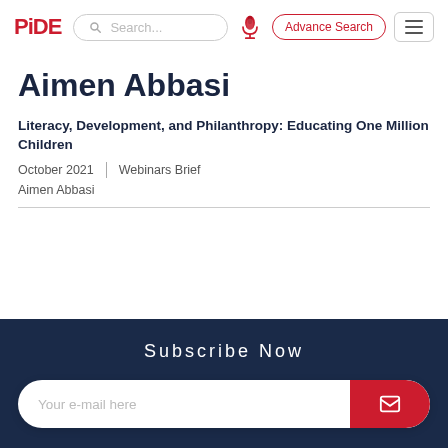[Figure (logo): PIDE logo in red text]
[Figure (screenshot): Search bar with microphone icon and Advance Search button and hamburger menu]
Aimen Abbasi
Literacy, Development, and Philanthropy: Educating One Million Children
October 2021 | Webinars Brief
Aimen Abbasi
Subscribe Now
Your e-mail here